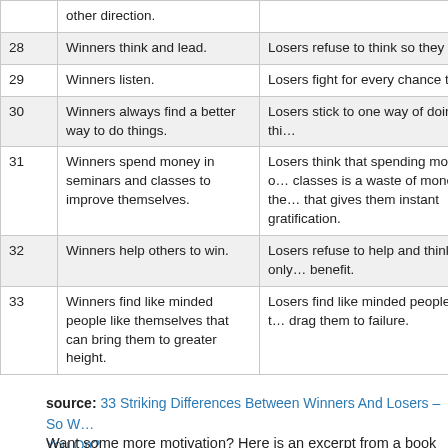| # | Winners | Losers |
| --- | --- | --- |
|  | other direction. |  |
| 28 | Winners think and lead. | Losers refuse to think so they follow |
| 29 | Winners listen. | Losers fight for every chance to talk |
| 30 | Winners always find a better way to do things. | Losers stick to one way of doing thi… |
| 31 | Winners spend money in seminars and classes to improve themselves. | Losers think that spending money o… classes is a waste of money and the… that gives them instant gratification. |
| 32 | Winners help others to win. | Losers refuse to help and think only… benefit. |
| 33 | Winners find like minded people like themselves that can bring them to greater height. | Losers find like minded people like t… drag them to failure. |
source: 33 Striking Differences Between Winners And Losers – So W… You On?
Want some more motivation? Here is an excerpt from a book written b… one of the greats in Direct Marketing, that will get your ass in gear: